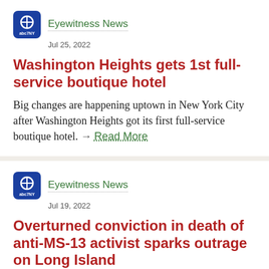[Figure (logo): ABC7NY Eyewitness News logo — white circle with ABC 7 mark on blue rounded square]
Eyewitness News
Jul 25, 2022
Washington Heights gets 1st full-service boutique hotel
Big changes are happening uptown in New York City after Washington Heights got its first full-service boutique hotel. → Read More
[Figure (logo): ABC7NY Eyewitness News logo — white circle with ABC 7 mark on blue rounded square]
Eyewitness News
Jul 19, 2022
Overturned conviction in death of anti-MS-13 activist sparks outrage on Long Island
There was heartbreak and outrage on Long Island Tuesday, just days after a court overturned the conviction of the driver accused of killing an MS-13